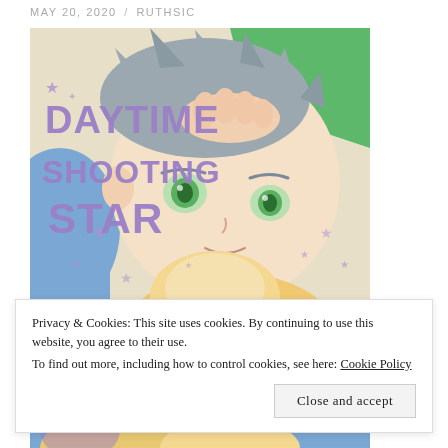MAY 20, 2020 / RUTHSIC
[Figure (illustration): Manga book cover for 'Daytime Shooting Star' showing two anime-style characters. Title text in purple reads 'DAYTIME SHOOTING STAR'. A character with grey hair and green eyes is prominently featured, wearing green, with purple stars decorating the background. A second character with blonde hair is partially visible at the bottom.]
Privacy & Cookies: This site uses cookies. By continuing to use this website, you agree to their use.
To find out more, including how to control cookies, see here: Cookie Policy
Close and accept